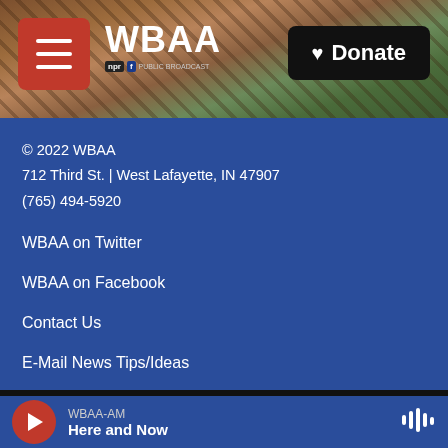[Figure (screenshot): WBAA website header with tree/flower background photo, red hamburger menu button, WBAA NPR logo, and black Donate button]
© 2022 WBAA
712 Third St. | West Lafayette, IN 47907
(765) 494-5920
WBAA on Twitter
WBAA on Facebook
Contact Us
E-Mail News Tips/Ideas
WBAA-AM
Here and Now